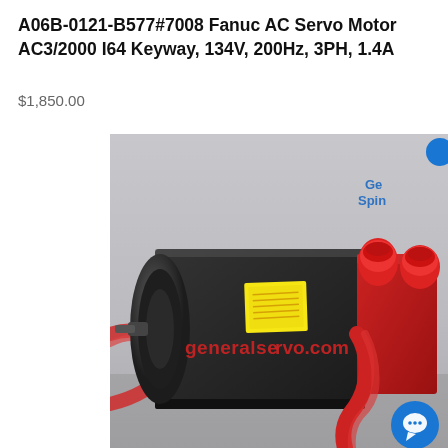A06B-0121-B577#7008 Fanuc AC Servo Motor AC3/2000 I64 Keyway, 134V, 200Hz, 3PH, 1.4A
$1,850.00
[Figure (photo): Photo of a Fanuc AC Servo Motor (A06B-0121-B577#7008) — a dark black/charcoal cylindrical motor body with a yellow warning label, red wiring cables, and two red-capped connectors on the right side. The motor has 'generalservo.com' text overlaid in red. A blue chat widget circle appears at the bottom right of the image. Partial 'General Servo' branding text visible in upper right of photo. The image background is light gray.]